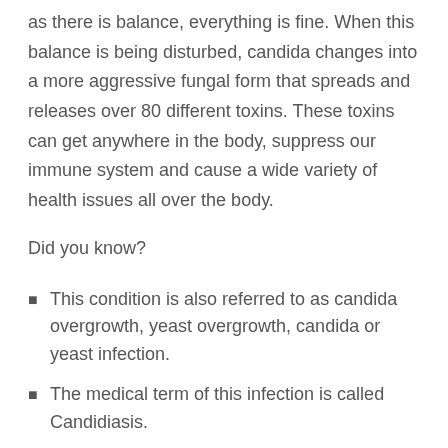as there is balance, everything is fine. When this balance is being disturbed, candida changes into a more aggressive fungal form that spreads and releases over 80 different toxins. These toxins can get anywhere in the body, suppress our immune system and cause a wide variety of health issues all over the body.
Did you know?
This condition is also referred to as candida overgrowth, yeast overgrowth, candida or yeast infection.
The medical term of this infection is called Candidiasis.